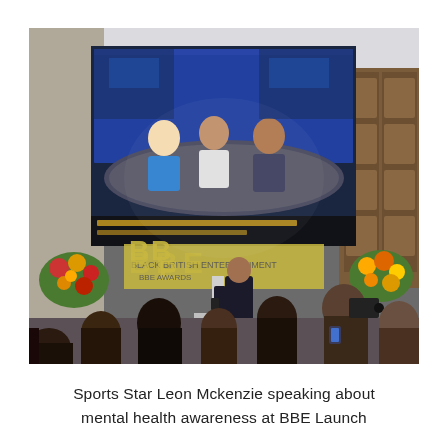[Figure (photo): An event venue (church or hall) with a large projection screen showing a TV studio panel discussion with three people at a curved desk. A man in a dark suit stands at a podium beneath the screen. In the background, large ornate wooden panels and floral arrangements are visible. An audience is seated in the foreground, many with cameras. A logo reading 'BLACK BRITISH ENTERTAINMENT BBE AWARDS' is visible on a banner.]
Sports Star Leon Mckenzie speaking about mental health awareness at BBE Launch